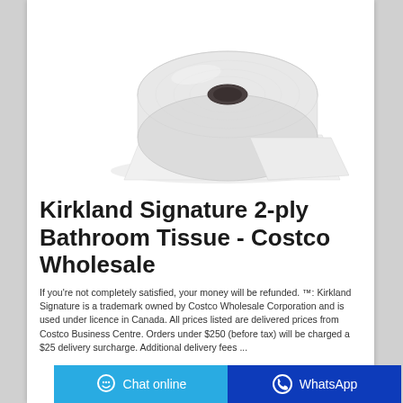[Figure (photo): A single white toilet paper roll lying on its side on a white background, with a sheet partially unrolled underneath.]
Kirkland Signature 2-ply Bathroom Tissue - Costco Wholesale
If you're not completely satisfied, your money will be refunded. ™: Kirkland Signature is a trademark owned by Costco Wholesale Corporation and is used under licence in Canada. All prices listed are delivered prices from Costco Business Centre. Orders under $250 (before tax) will be charged a $25 delivery surcharge. Additional delivery fees ...
Chat online | WhatsApp